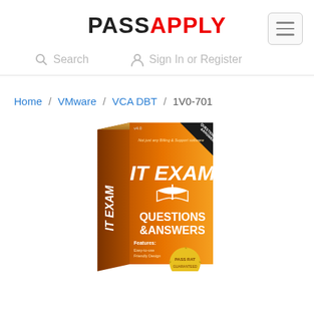PASSAPPLY
Search
Sign In or Register
Home / VMware / VCA DBT / 1V0-701
[Figure (photo): IT Exam Questions & Answers product box in orange color with 'IT EXAM' and 'QUESTIONS & ANSWERS' text, featuring a pass rate seal at the bottom]